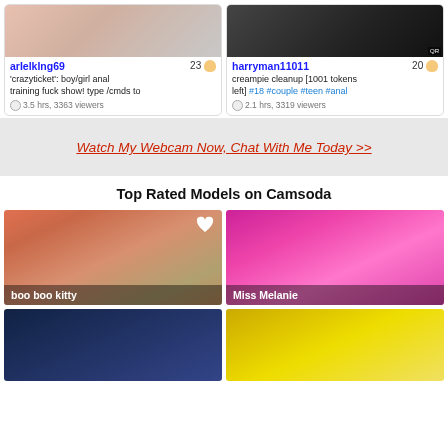[Figure (screenshot): Webcam thumbnail for arlelkIng69]
arlelkIng69  23
'crazyticket': boy/girl anal training fuck show! type /cmds to
3.5 hrs, 3363 viewers
[Figure (screenshot): Webcam thumbnail for harryman11011]
harryman11011  20
creampie cleanup [1001 tokens left] #18 #couple #teen #anal
2.1 hrs, 3319 viewers
Watch My Webcam Now, Chat With Me Today >>
Top Rated Models on Camsoda
[Figure (screenshot): Webcam thumbnail labeled boo boo kitty]
[Figure (screenshot): Webcam thumbnail labeled Miss Melanie]
[Figure (screenshot): Webcam thumbnail bottom left]
[Figure (screenshot): Webcam thumbnail bottom right]